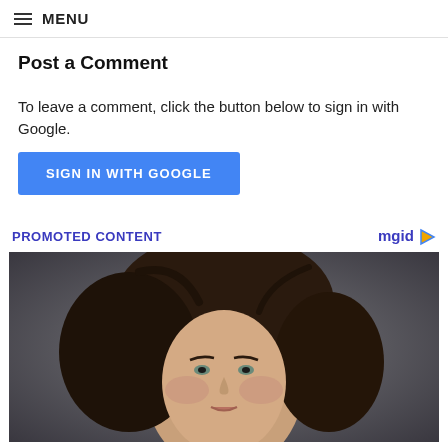MENU
Post a Comment
To leave a comment, click the button below to sign in with Google.
SIGN IN WITH GOOGLE
PROMOTED CONTENT
[Figure (photo): Portrait photo of a woman with dark wavy hair used in an advertisement]
INSTALL APP YETU ⇒ BONYEZA HAPA